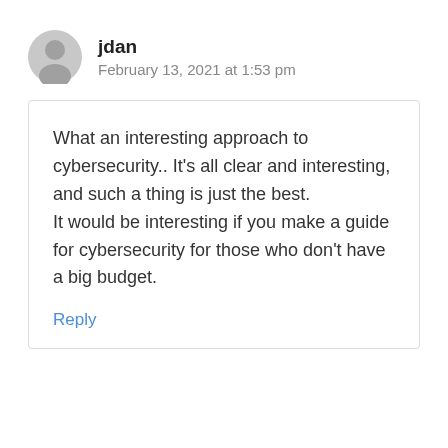[Figure (illustration): Gray circular user avatar icon with a person silhouette]
jdan
February 13, 2021 at 1:53 pm
What an interesting approach to cybersecurity.. It's all clear and interesting, and such a thing is just the best.
It would be interesting if you make a guide for cybersecurity for those who don't have a big budget.
Reply